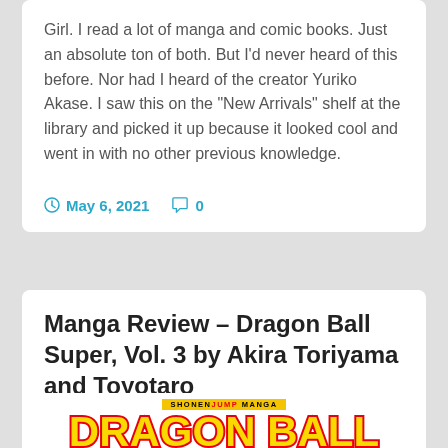Girl. I read a lot of manga and comic books. Just an absolute ton of both. But I'd never heard of this before. Nor had I heard of the creator Yuriko Akase. I saw this on the "New Arrivals" shelf at the library and picked it up because it looked cool and went in with no other previous knowledge.
May 6, 2021   0
Manga Review – Dragon Ball Super, Vol. 3 by Akira Toriyama and Toyotaro
[Figure (logo): Dragon Ball Super manga logo with SHONEN JUMP MANGA banner above stylized Dragon Ball text in yellow and red]